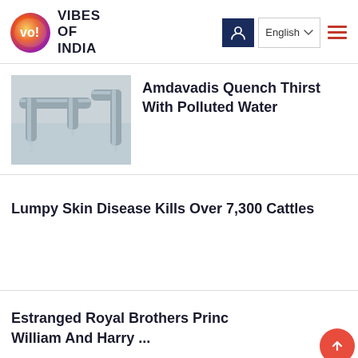VIBES OF INDIA
[Figure (photo): Photo of water pipes with water dripping/leaking, misty background]
Amdavadis Quench Thirst With Polluted Water
Lumpy Skin Disease Kills Over 7,300 Cattles
Estranged Royal Brothers Prince William And Harry ...